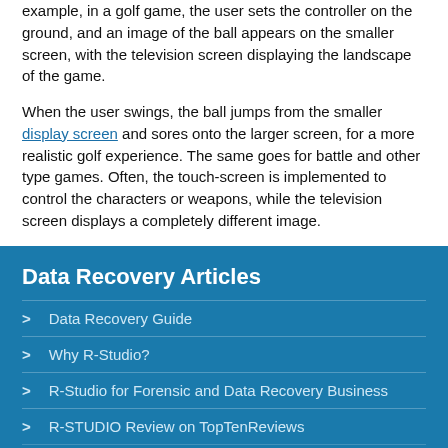example, in a golf game, the user sets the controller on the ground, and an image of the ball appears on the smaller screen, with the television screen displaying the landscape of the game.
When the user swings, the ball jumps from the smaller display screen and sores onto the larger screen, for a more realistic golf experience. The same goes for battle and other type games. Often, the touch-screen is implemented to control the characters or weapons, while the television screen displays a completely different image.
Data Recovery Articles
> Data Recovery Guide
> Why R-Studio?
> R-Studio for Forensic and Data Recovery Business
> R-STUDIO Review on TopTenReviews
> File Recovery Specifies for SSD devices